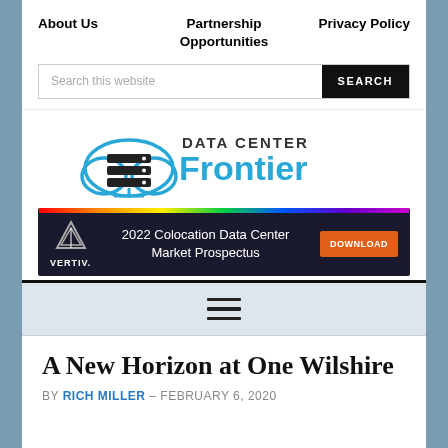About Us   Partnership Opportunities   Privacy Policy
[Figure (screenshot): Search bar with text 'Search this website' and a black SEARCH button]
[Figure (logo): Data Center Frontier logo with cloud and server stack icon in blue]
[Figure (infographic): Vertiv advertisement banner: '2022 Colocation Data Center Market Prospectus' with DOWNLOAD button]
[Figure (other): Hamburger menu icon (three horizontal lines)]
A New Horizon at One Wilshire
BY RICH MILLER - FEBRUARY 6, 2020